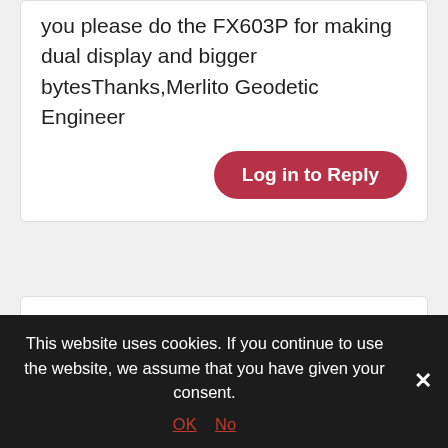you please do the FX603P for making dual display and bigger bytesThanks,Merlito Geodetic Engineer
Log in to Reply
Thomas Rupp
02-APR-2017 AT 17:16
Hallo Zusammen,
ich kann diese Anwendung nur wärmstens weiter empfehlen. Also Besitzer eines FX-602P, bereits seit den 80ern, finde ich wirklich Spaß daran meine Programme weiter zu
This website uses cookies. If you continue to use the website, we assume that you have given your consent.
OK   No